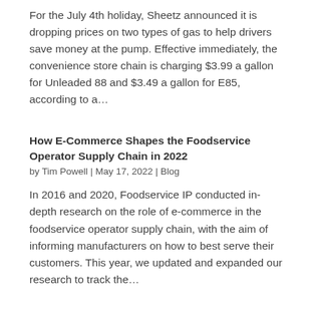For the July 4th holiday, Sheetz announced it is dropping prices on two types of gas to help drivers save money at the pump. Effective immediately, the convenience store chain is charging $3.99 a gallon for Unleaded 88 and $3.49 a gallon for E85, according to a...
How E-Commerce Shapes the Foodservice Operator Supply Chain in 2022
by Tim Powell | May 17, 2022 | Blog
In 2016 and 2020, Foodservice IP conducted in-depth research on the role of e-commerce in the foodservice operator supply chain, with the aim of informing manufacturers on how to best serve their customers. This year, we updated and expanded our research to track the...